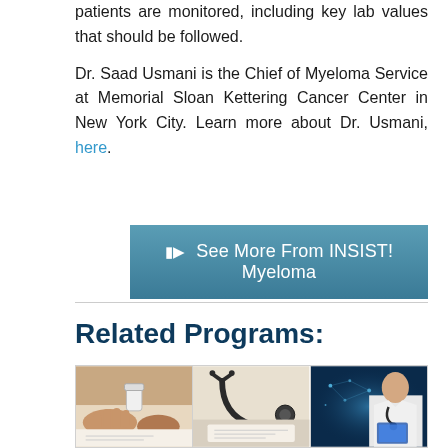patients are monitored, including key lab values that should be followed.
Dr. Saad Usmani is the Chief of Myeloma Service at Memorial Sloan Kettering Cancer Center in New York City. Learn more about Dr. Usmani, here.
[Figure (other): Blue button/banner with video icon and text: See More From INSIST! Myeloma]
Related Programs:
[Figure (photo): Three thumbnail images in a row: first shows hands holding a pill bottle, second shows a stethoscope on a table, third shows a doctor with digital technology overlay]